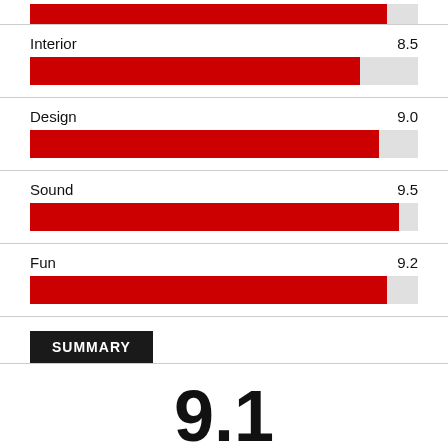[Figure (bar-chart): Category Ratings]
SUMMARY
9.1
[Figure (other): 4 out of 5 stars rating]